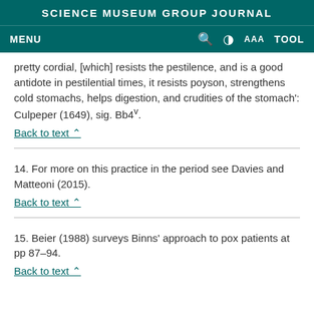SCIENCE MUSEUM GROUP JOURNAL
pretty cordial, [which] resists the pestilence, and is a good antidote in pestilential times, it resists poyson, strengthens cold stomachs, helps digestion, and crudities of the stomach': Culpeper (1649), sig. Bb4v.
Back to text ^
14. For more on this practice in the period see Davies and Matteoni (2015).
Back to text ^
15. Beier (1988) surveys Binns' approach to pox patients at pp 87–94.
Back to text ^